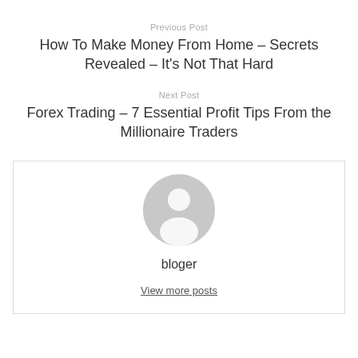Previous Post
How To Make Money From Home – Secrets Revealed – It's Not That Hard
Next Post
Forex Trading – 7 Essential Profit Tips From the Millionaire Traders
[Figure (illustration): Generic user avatar icon — a grey circle with a white silhouette of a person (head and shoulders)]
bloger
View more posts